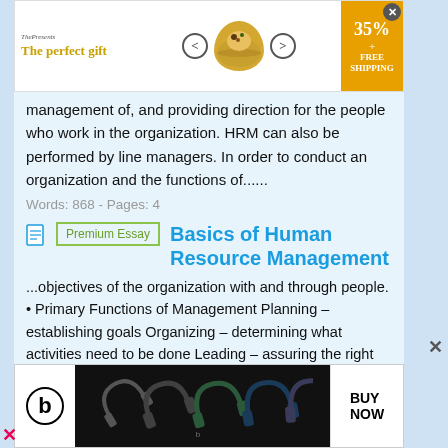[Figure (other): Top advertisement banner: 'The perfect gift' with bowl imagery, navigation arrows, 35% + FREE SHIPPING badge]
management of, and providing direction for the people who work in the organization. HRM can also be performed by line managers. In order to conduct an organization and the functions of......
Words: 868 - Pages: 4
Basics of Human Resource Management
...objectives of the organization with and through people. • Primary Functions of Management Planning – establishing goals Organizing – determining what activities need to be done Leading – assuring the right people are on the job and motivated Controlling – monitoring activities to be sure goals are met 2.
[Figure (other): Bottom advertisement banner for Beats headphones with BUY NOW button]